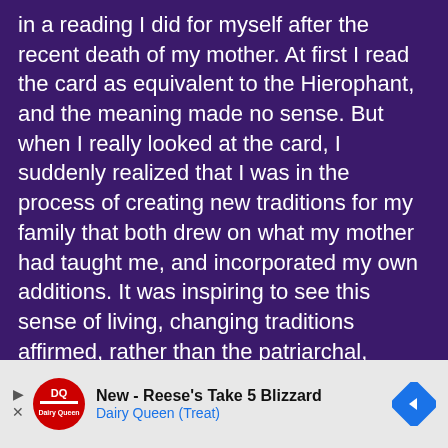in a reading I did for myself after the recent death of my mother. At first I read the card as equivalent to the Hierophant, and the meaning made no sense. But when I really looked at the card, I suddenly realized that I was in the process of creating new traditions for my family that both drew on what my mother had taught me, and incorporated my own additions. It was inspiring to see this sense of living, changing traditions affirmed, rather than the patriarchal, institutionalized world of the Heirophant. I could never have gotten to that understanding with the Heirophant card.

This deck is beautifully illustrated, and in spite of drawing upon many cultures, has an artistic unity. T... ider- W...
[Figure (other): Advertisement banner for Dairy Queen featuring a Reese's Take 5 Blizzard promotion. Shows DQ logo, navigation arrows, ad title 'New - Reese's Take 5 Blizzard', subtitle 'Dairy Queen (Treat)', and a blue diamond-shaped navigation arrow on the right.]